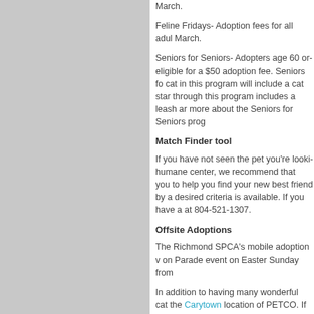March.
Feline Fridays- Adoption fees for all adul... March.
Seniors for Seniors- Adopters age 60 or... eligible for a $50 adoption fee. Seniors fo... cat in this program will include a cat star... through this program includes a leash ar... more about the Seniors for Seniors prog...
Match Finder tool
If you have not seen the pet you're looki... humane center, we recommend that you... to help you find your new best friend by... desired criteria is available. If you have a... at 804-521-1307.
Offsite Adoptions
The Richmond SPCA's mobile adoption v... on Parade event on Easter Sunday from...
In addition to having many wonderful cat... the Carytown location of PETCO. If you... appointment to meet them in person, pl...